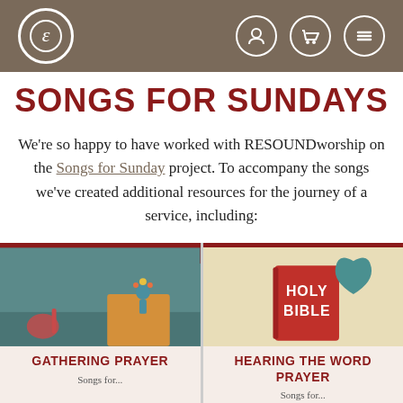Navigation header with logo and icons
SONGS FOR SUNDAYS
We're so happy to have worked with RESOUNDworship on the Songs for Sunday project. To accompany the songs we've created additional resources for the journey of a service, including:
[Figure (illustration): Card image for Gathering Prayer showing a teal illustrated scene with a banner reading SONGS FOR SUNDAYS RESOUND WORSHIP and cartoon figures]
GATHERING PRAYER
[Figure (illustration): Card image for Hearing the Word Prayer showing a Holy Bible illustration on a cream/tan background with a teal heart shape]
HEARING THE WORD PRAYER